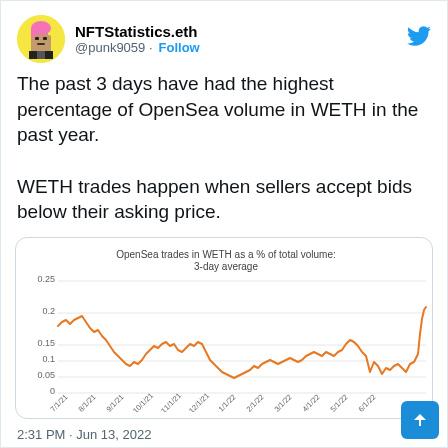NFTStatistics.eth @punk9059 · Follow
The past 3 days have had the highest percentage of OpenSea volume in WETH in the past year.

WETH trades happen when sellers accept bids below their asking price.
[Figure (continuous-plot): Line chart showing OpenSea trades in WETH as a percentage of total volume (3-day average) from 7/1/21 to 6/1/22. The line starts around 0.15, dips and fluctuates between 0.05 and 0.15 through most of the year, and spikes sharply to about 0.21 near 6/1/22.]
2:31 PM · Jun 13, 2022